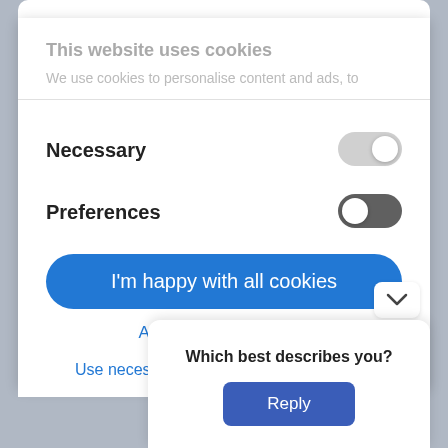This website uses cookies
We use cookies to personalise content and ads, to
Necessary
[Figure (other): Toggle switch in off/grey state for Necessary cookies]
Preferences
[Figure (other): Toggle switch in on/dark state for Preferences cookies]
I'm happy with all cookies
Allow selected cookies
Use necessary cookies only
Which best describes you?
Reply